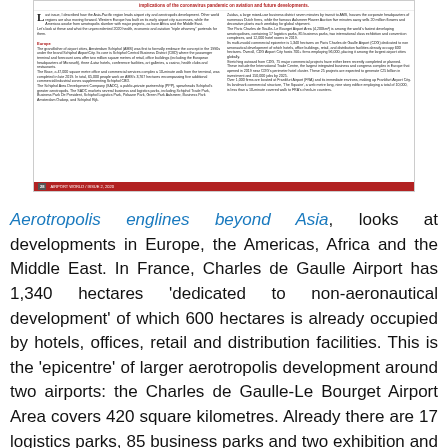[Figure (screenshot): A scanned/rendered magazine page from Airport World Issue 2, 2020, showing an article about aerotropolis developments in Europe, with two-column text layout, a red top banner warning about coronavirus implications on aviation, drop cap 'L' opening, Europe section heading in red, and a red footer bar with page number 28.]
Aerotropolis englines beyond Asia, looks at developments in Europe, the Americas, Africa and the Middle East. In France, Charles de Gaulle Airport has 1,340 hectares 'dedicated to non-aeronautical development' of which 600 hectares is already occupied by hotels, offices, retail and distribution facilities. This is the 'epicentre' of larger aerotropolis development around two airports: the Charles de Gaulle-Le Bourget Airport Area covers 420 square kilometres. Already there are 17 logistics parks, 85 business parks and two exhibition and convention complexes, along with 12,000 hotel rooms, in this area, described as 'among the world's fastest developing aerotropolises. In Finland,